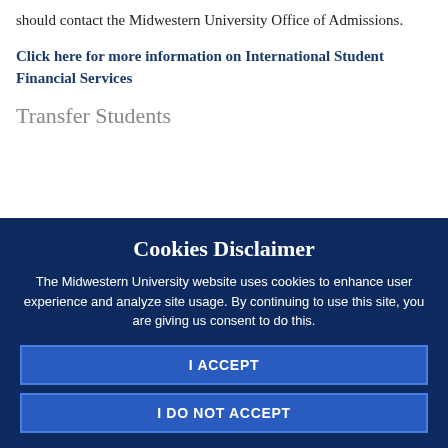should contact the Midwestern University Office of Admissions.
Click here for more information on International Student Financial Services
Transfer Students
Cookies Disclaimer
The Midwestern University website uses cookies to enhance user experience and analyze site usage. By continuing to use this site, you are giving us consent to do this.
I ACCEPT
I DO NOT ACCEPT